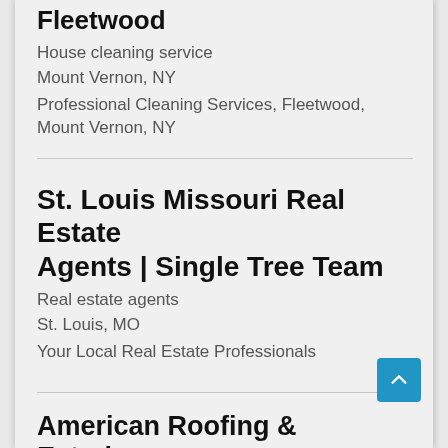Fleetwood
House cleaning service
Mount Vernon, NY
Professional Cleaning Services, Fleetwood, Mount Vernon, NY
St. Louis Missouri Real Estate Agents | Single Tree Team
Real estate agents
St. Louis, MO
Your Local Real Estate Professionals
American Roofing & Exteriors
Roofing contractor